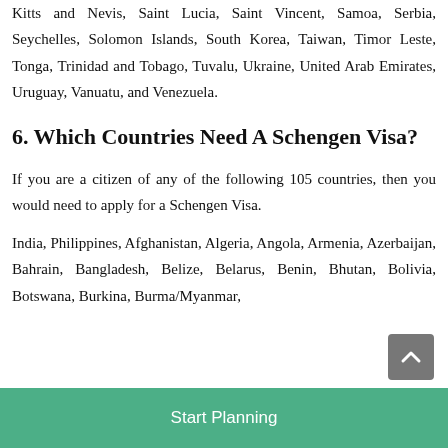Kitts and Nevis, Saint Lucia, Saint Vincent, Samoa, Serbia, Seychelles, Solomon Islands, South Korea, Taiwan, Timor Leste, Tonga, Trinidad and Tobago, Tuvalu, Ukraine, United Arab Emirates, Uruguay, Vanuatu, and Venezuela.
6. Which Countries Need A Schengen Visa?
If you are a citizen of any of the following 105 countries, then you would need to apply for a Schengen Visa.
India, Philippines, Afghanistan, Algeria, Angola, Armenia, Azerbaijan, Bahrain, Bangladesh, Belize, Belarus, Benin, Bhutan, Bolivia, Botswana, Burkina, Burma/Myanmar,
Start Planning